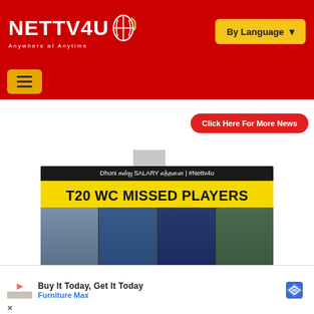[Figure (screenshot): NETTV4U website header with red background, logo on left, By Language dropdown button on right]
[Figure (screenshot): Red navigation bar with yellow hamburger menu button]
Click Here For More News
[Figure (screenshot): Video thumbnail showing T20 WC Missed Players with Tamil caption, Dhoni salary title bar, and four Indian cricket players]
[Figure (screenshot): Advertisement banner: Buy It Today, Get It Today - Furniture Max]